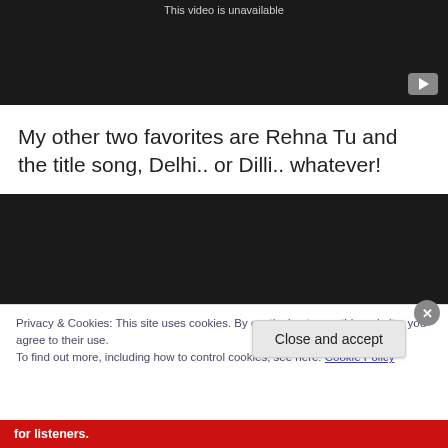[Figure (screenshot): YouTube video player showing 'This video is unavailable' message on dark background with YouTube logo/play button in bottom right corner]
My other two favorites are Rehna Tu and the title song, Delhi.. or Dilli.. whatever!
[Figure (screenshot): Second YouTube video player embed with dark/black background]
Privacy & Cookies: This site uses cookies. By continuing to use this website, you agree to their use.
To find out more, including how to control cookies, see here: Cookie Policy
Close and accept
for listeners.